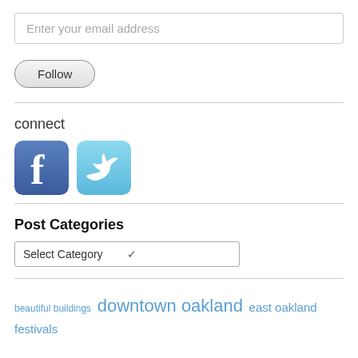Enter your email address
Follow
connect
[Figure (illustration): Facebook and Twitter social media icons]
Post Categories
Select Category
beautiful buildings  downtown oakland  east oakland  festivals